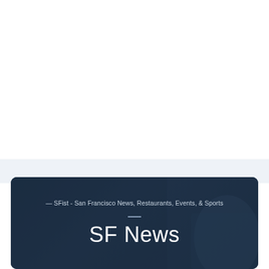— SFist - San Francisco News, Restaurants, Events, & Sports
SF News